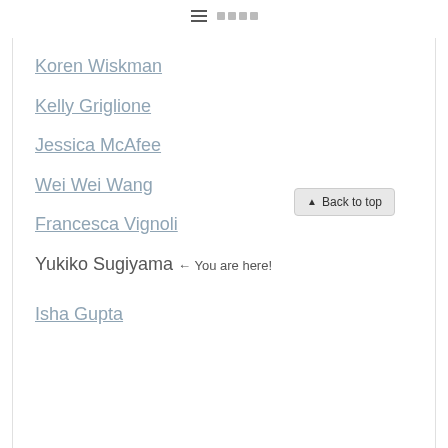≡ □□□□
Koren Wiskman
Kelly Griglione
Jessica McAfee
Wei Wei Wang
Francesca Vignoli
Yukiko Sugiyama ← You are here!
Isha Gupta